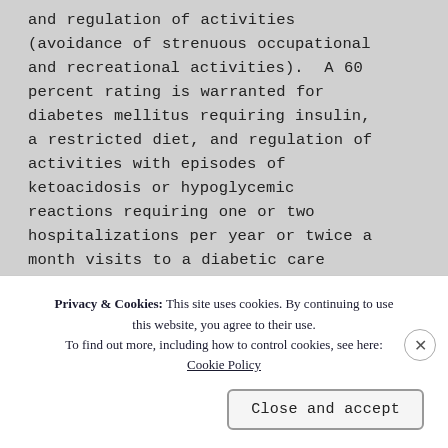and regulation of activities (avoidance of strenuous occupational and recreational activities). A 60 percent rating is warranted for diabetes mellitus requiring insulin, a restricted diet, and regulation of activities with episodes of ketoacidosis or hypoglycemic reactions requiring one or two hospitalizations per year or twice a month visits to a diabetic care
Privacy & Cookies: This site uses cookies. By continuing to use this website, you agree to their use. To find out more, including how to control cookies, see here: Cookie Policy
Close and accept